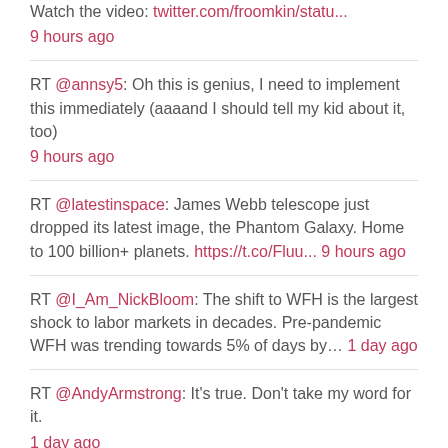Watch the video: twitter.com/froomkin/statu... 9 hours ago
RT @annsy5: Oh this is genius, I need to implement this immediately (aaaand I should tell my kid about it, too) 9 hours ago
RT @latestinspace: James Webb telescope just dropped its latest image, the Phantom Galaxy. Home to 100 billion+ planets. https://t.co/Fluu... 9 hours ago
RT @I_Am_NickBloom: The shift to WFH is the largest shock to labor markets in decades. Pre-pandemic WFH was trending towards 5% of days by... 1 day ago
RT @AndyArmstrong: It's true. Don't take my word for it. 1 day ago